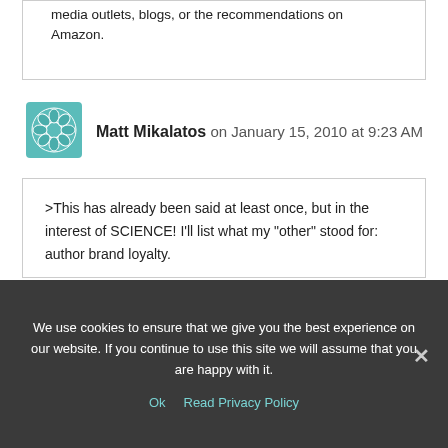media outlets, blogs, or the recommendations on Amazon.
Matt Mikalatos on January 15, 2010 at 9:23 AM
>This has already been said at least once, but in the interest of SCIENCE! I'll list what my "other" stood for: author brand loyalty.

Both of my most recent novels have been books by authors whose earlier work I've enjoyed. Since they
We use cookies to ensure that we give you the best experience on our website. If you continue to use this site we will assume that you are happy with it.
Ok   Read Privacy Policy